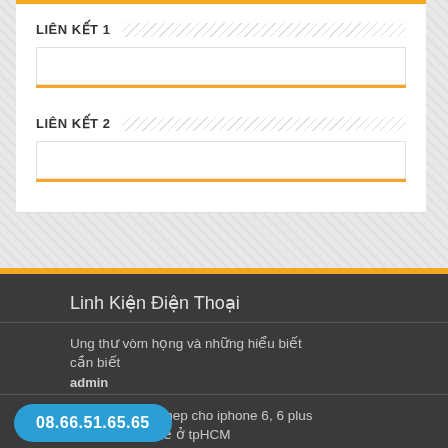LIÊN KẾT 1
LIÊN KẾT 2
Linh Kiện Điện Thoại
Ung thư vòm họng và những hiểu biết cần biết
admin
Cung cấp sim ghep cho iphone 6, 6 plus giá lẻ nhiêu là rẻ ở tpHCM
08.66.51.65.65